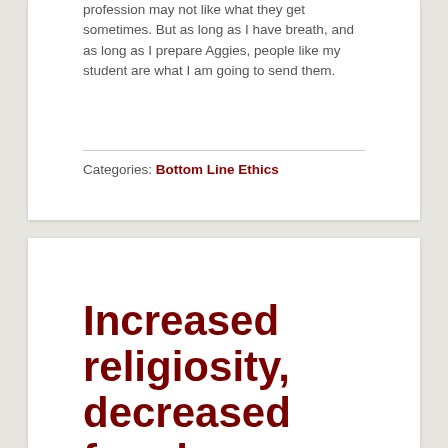profession may not like what they get sometimes. But as long as I have breath, and as long as I prepare Aggies, people like my student are what I am going to send them.
Categories: Bottom Line Ethics
Increased religiosity, decreased fraud
, June 29th, 2010